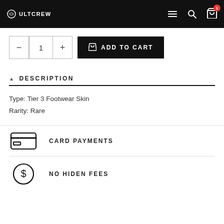ULTCREW
ADD TO CART — quantity: 1
DESCRIPTION
Type: Tier 3 Footwear Skin
Rarity: Rare
CARD PAYMENTS
NO HIDEN FEES